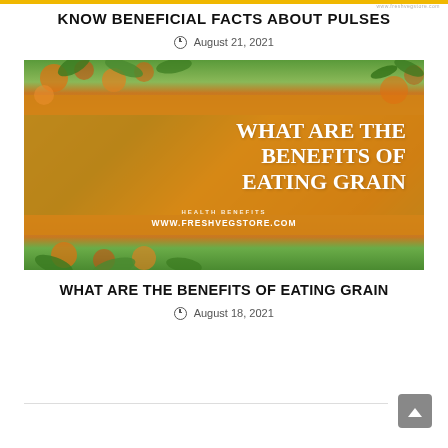www.freshvegstore.com
KNOW BENEFICIAL FACTS ABOUT PULSES
August 21, 2021
[Figure (photo): An orange banner image with fruits and green leaves showing text: WHAT ARE THE BENEFITS OF EATING GRAIN, HEALTH BENEFITS, www.freshvegstore.com]
WHAT ARE THE BENEFITS OF EATING GRAIN
August 18, 2021